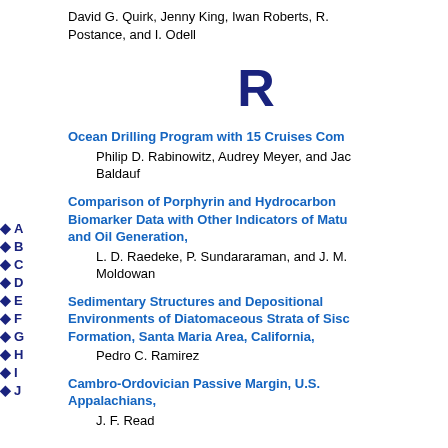David G. Quirk, Jenny King, Iwan Roberts, R. Postance, and I. Odell
R
Ocean Drilling Program with 15 Cruises Com
Philip D. Rabinowitz, Audrey Meyer, and Jac Baldauf
Comparison of Porphyrin and Hydrocarbon Biomarker Data with Other Indicators of Matu and Oil Generation,
L. D. Raedeke, P. Sundararaman, and J. M. Moldowan
Sedimentary Structures and Depositional Environments of Diatomaceous Strata of Sisc Formation, Santa Maria Area, California,
Pedro C. Ramirez
Cambro-Ordovician Passive Margin, U.S. Appalachians,
J. F. Read
A
B
C
D
E
F
G
H
I
J